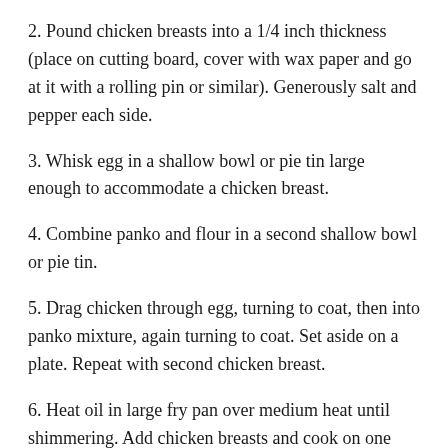2. Pound chicken breasts into a 1/4 inch thickness (place on cutting board, cover with wax paper and go at it with a rolling pin or similar). Generously salt and pepper each side.
3. Whisk egg in a shallow bowl or pie tin large enough to accommodate a chicken breast.
4. Combine panko and flour in a second shallow bowl or pie tin.
5. Drag chicken through egg, turning to coat, then into panko mixture, again turning to coat. Set aside on a plate. Repeat with second chicken breast.
6. Heat oil in large fry pan over medium heat until shimmering. Add chicken breasts and cook on one side for about 4 minutes or until brown and crusty. Flip and brown other side (you may need to adjust heat if they